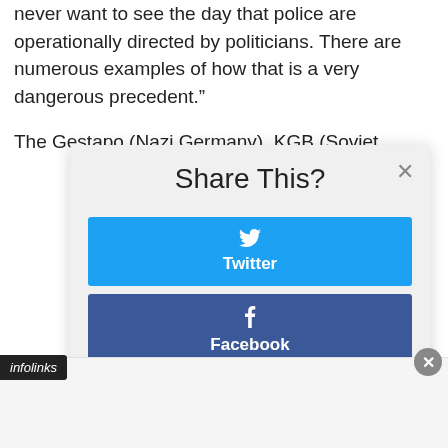never want to see the day that police are operationally directed by politicians. There are numerous examples of how that is a very dangerous precedent.”
The Gestapo (Nazi Germany), KGB (Soviet
[Figure (screenshot): Share This? modal dialog with Twitter and Facebook share buttons, and an infolinks bar at bottom left]